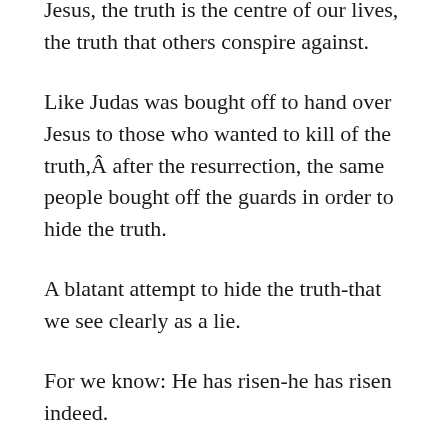Jesus, the truth is the centre of our lives, the truth that others conspire against.
Like Judas was bought off to hand over Jesus to those who wanted to kill of the truth,Â after the resurrection, the same people bought off the guards in order to hide the truth.
A blatant attempt to hide the truth-that we see clearly as a lie.
For we know: He has risen-he has risen indeed.
But the most deceitful lies are those that are partly based on truth.
We are constantly reminded that we are